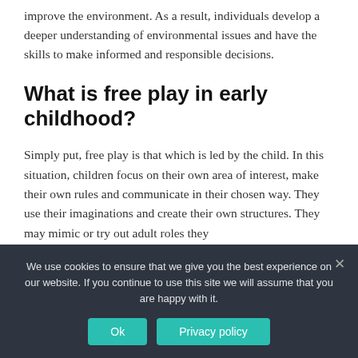improve the environment. As a result, individuals develop a deeper understanding of environmental issues and have the skills to make informed and responsible decisions.
What is free play in early childhood?
Simply put, free play is that which is led by the child. In this situation, children focus on their own area of interest, make their own rules and communicate in their chosen way. They use their imaginations and create their own structures. They may mimic or try out adult roles they
We use cookies to ensure that we give you the best experience on our website. If you continue to use this site we will assume that you are happy with it.